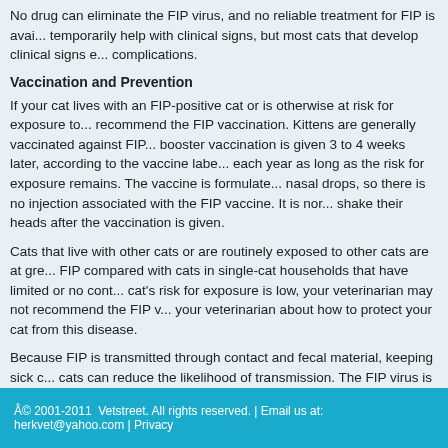No drug can eliminate the FIP virus, and no reliable treatment for FIP is available. Some drugs may temporarily help with clinical signs, but most cats that develop clinical signs eventually die from FIP complications.
Vaccination and Prevention
If your cat lives with an FIP-positive cat or is otherwise at risk for exposure to FIP, your veterinarian may recommend the FIP vaccination. Kittens are generally vaccinated against FIP at 16 weeks of age, and a booster vaccination is given 3 to 4 weeks later, according to the vaccine label. The vaccine is then repeated each year as long as the risk for exposure remains. The vaccine is formulated to be given as intranasal nasal drops, so there is no injection associated with the FIP vaccine. It is normal for cats to sneeze or shake their heads after the vaccination is given.
Cats that live with other cats or are routinely exposed to other cats are at greater risk for contracting FIP compared with cats in single-cat households that have limited or no contact with other cats. If your cat's risk for exposure is low, your veterinarian may not recommend the FIP vaccination. Please talk with your veterinarian about how to protect your cat from this disease.
Because FIP is transmitted through contact and fecal material, keeping sick cats separated from healthy cats can reduce the likelihood of transmission. The FIP virus is killed by bleach, and litter boxes and food/water bowls can be cleaned with a dilute bleach solution.
Any new kitten or cat being introduced into the home should be examined by a veterinarian as soon as possible and separated from all other household pets for a quarantine period of at least 2 to 3 weeks. During that time, the new cat should be monitored closely for any signs of illness, which should be reported to your veterinarian before introducing the new cat to your other pets.
© 2001-2011  Vetstreet. All rights reserved. | Email us at: herkvet@yahoo.com | Privacy